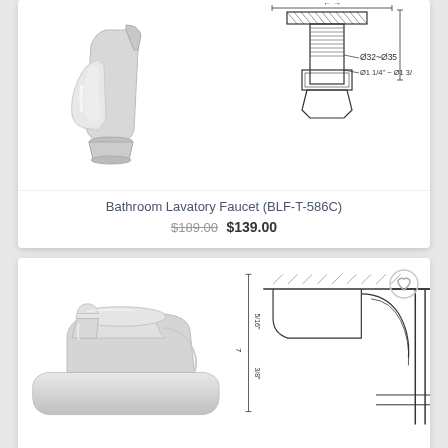[Figure (photo): Chrome bathroom lavatory faucet product photo, side view showing handle and spout]
[Figure (engineering-diagram): Technical cross-section diagram of faucet drain assembly showing Ø32~Ø35 and Ø1 1/4" - Ø1 3/8" dimensions]
Bathroom Lavatory Faucet (BLF-T-586C)
$189.00  $139.00
[Figure (photo): Chrome single-hole bathroom faucet product photo, low profile modern design]
[Figure (engineering-diagram): Technical cross-section diagram of faucet base/drain assembly with dimension markings]